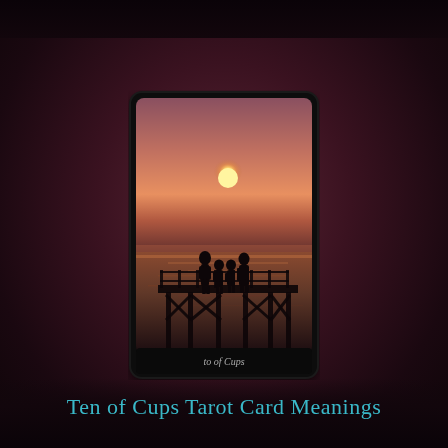[Figure (illustration): A tarot card labeled 'to of Cups' showing a silhouette of a family (two adults and two children) standing on a wooden dock/pier at sunset, with the sun setting over water creating warm orange and pink hues. The card has a black border with rounded corners and a dark label at the bottom reading 'to of Cups'. The card is centered on a deep dark maroon/burgundy radial gradient background.]
Ten of Cups Tarot Card Meanings